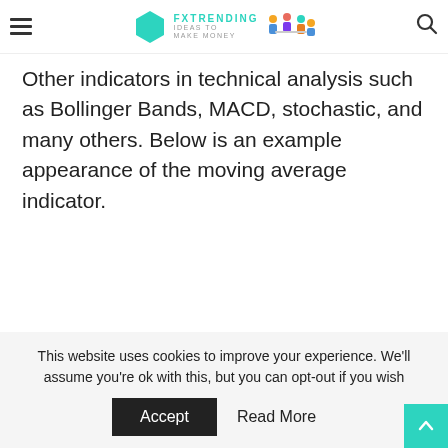FXTRENDING IDEAS TO MAKE MONEY [logo with people illustration]
Other indicators in technical analysis such as Bollinger Bands, MACD, stochastic, and many others. Below is an example appearance of the moving average indicator.
This website uses cookies to improve your experience. We'll assume you're ok with this, but you can opt-out if you wish